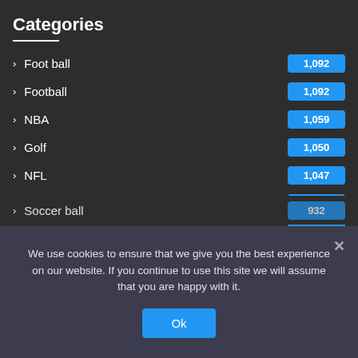Categories
Foot ball — 1,092
Football — 1,092
NBA — 1,059
Golf — 1,050
NFL — 1,047
Arts — 1,045
Goal — 1,007
Soccer — 932
Soccer ball — 932
We use cookies to ensure that we give you the best experience on our website. If you continue to use this site we will assume that you are happy with it.